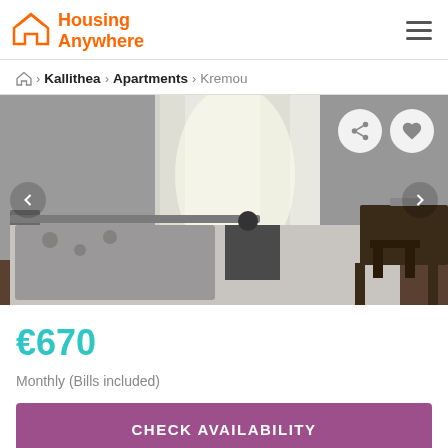Housing Anywhere
Home > Kallithea > Apartments > Kremou
[Figure (photo): Bedroom photo showing a double bed with grey bedding, metal headboard, a small nightstand, sheer white curtains on window in background, and a dark wooden desk and chair on the right side.]
€670
Monthly (Bills included)
CHECK AVAILABILITY